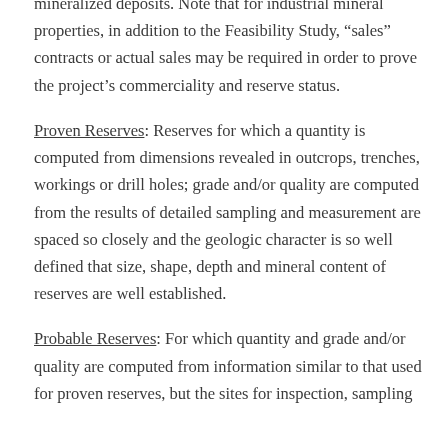mineralized deposits. Note that for industrial mineral properties, in addition to the Feasibility Study, "sales" contracts or actual sales may be required in order to prove the project's commerciality and reserve status.
Proven Reserves: Reserves for which a quantity is computed from dimensions revealed in outcrops, trenches, workings or drill holes; grade and/or quality are computed from the results of detailed sampling and measurement are spaced so closely and the geologic character is so well defined that size, shape, depth and mineral content of reserves are well established.
Probable Reserves: For which quantity and grade and/or quality are computed from information similar to that used for proven reserves, but the sites for inspection, sampling and measurement are farther apart or are otherwise less adequately spaced.